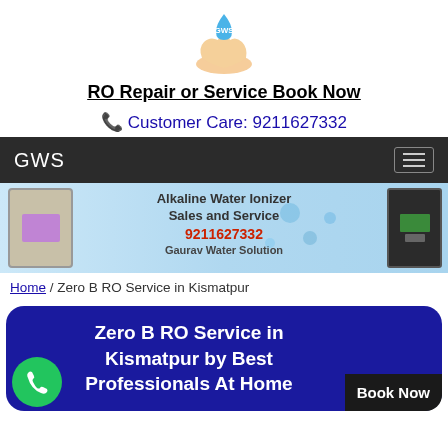[Figure (logo): GWS logo with water drop and hand]
RO Repair or Service Book Now
Customer Care: 9211627332
[Figure (screenshot): GWS navigation bar with brand name and hamburger menu]
[Figure (photo): Banner showing Alkaline Water Ionizer Sales and Service, 9211627332, Gaurav Water Solution]
Home / Zero B RO Service in Kismatpur
Zero B RO Service in Kismatpur by Best Professionals At Home